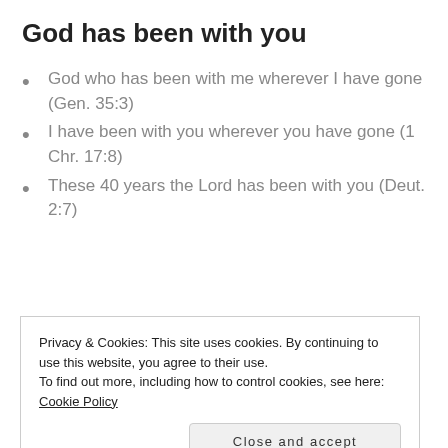God has been with you
God who has been with me wherever I have gone (Gen. 35:3)
I have been with you wherever you have gone (1 Chr. 17:8)
These 40 years the Lord has been with you (Deut. 2:7)
Privacy & Cookies: This site uses cookies. By continuing to use this website, you agree to their use.
To find out more, including how to control cookies, see here: Cookie Policy
God be with you